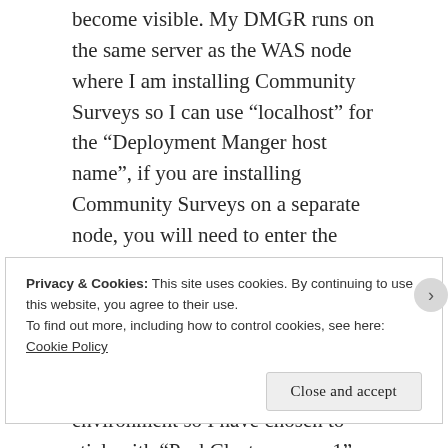become visible. My DMGR runs on the same server as the WAS node where I am installing Community Surveys so I can use “localhost” for the “Deployment Manger host name”, if you are installing Community Surveys on a separate node, you will need to enter the actual hostname of DMGR. You can also use another Application Server Profile, I am using a Medium Deployment and I do not have to many users in my test environment so I have chosen to stick with “PushCluster_server1”.
Privacy & Cookies: This site uses cookies. By continuing to use this website, you agree to their use.
To find out more, including how to control cookies, see here: Cookie Policy
Close and accept